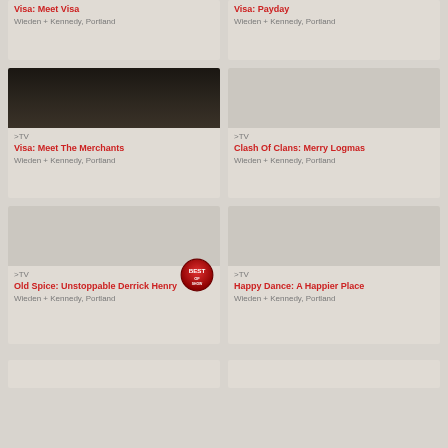Visa: Meet Visa
Wieden + Kennedy, Portland
Visa: Payday
Wieden + Kennedy, Portland
[Figure (photo): Dark photo thumbnail — person in dim lighting]
>TV
Visa: Meet The Merchants
Wieden + Kennedy, Portland
[Figure (photo): Gray plain thumbnail]
>TV
Clash Of Clans: Merry Logmas
Wieden + Kennedy, Portland
[Figure (photo): Gray plain thumbnail with BEST badge]
>TV
Old Spice: Unstoppable Derrick Henry
Wieden + Kennedy, Portland
[Figure (photo): Gray plain thumbnail]
>TV
Happy Dance: A Happier Place
Wieden + Kennedy, Portland